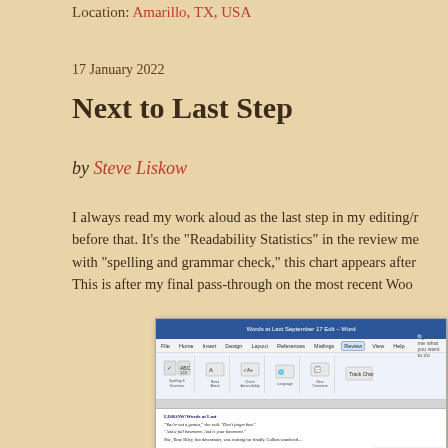Location: Amarillo, TX, USA
17 January 2022
Next to Last Step
by Steve Liskow
I always read my work aloud as the last step in my editing/r before that. It's the "Readability Statistics" in the review me with "spelling and grammar check," this chart appears after This is after my final pass-through on the most recent Woo
[Figure (screenshot): Microsoft Word window showing the Review tab ribbon with a Readability Statistics dialog box appearing in the bottom right corner. The document contains text about a story.]